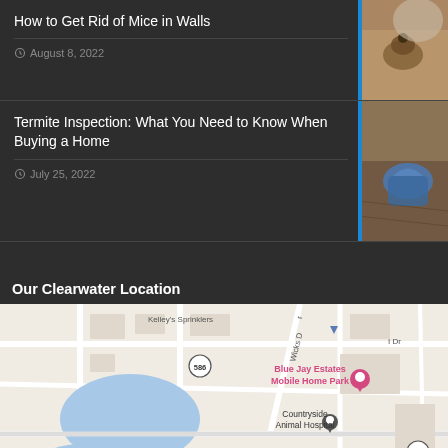How to Get Rid of Mice in Walls
August 8, 2022
Termite Inspection: What You Need to Know When Buying a Home
July 25, 2022
Our Clearwater Location
[Figure (map): Google Maps view of Clearwater location showing Drive-Bye Exterminators pin near Blue Jay Estates Mobile Home Park, Countryside Animal Hospital, Christmas village, Kelley's Sprinklers, route 586 markers, and surrounding streets including Wicks Dr, Brattle Ln, Merlin Dr.]